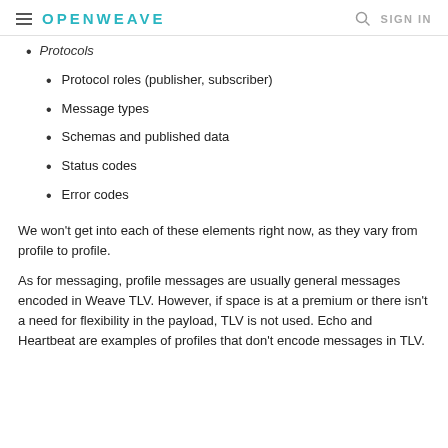OPENWEAVE  SIGN IN
Protocols
Protocol roles (publisher, subscriber)
Message types
Schemas and published data
Status codes
Error codes
We won't get into each of these elements right now, as they vary from profile to profile.
As for messaging, profile messages are usually general messages encoded in Weave TLV. However, if space is at a premium or there isn't a need for flexibility in the payload, TLV is not used. Echo and Heartbeat are examples of profiles that don't encode messages in TLV.